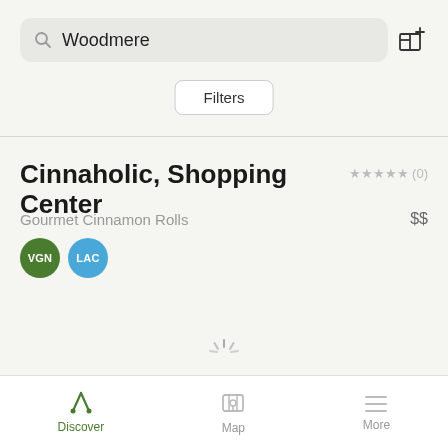Woodmere
Filters
Cinnaholic, Shopping Center
★★★★★ (0)
Gourmet Cinnamon Rolls
$$
VGN LAC
Discover  Map  More